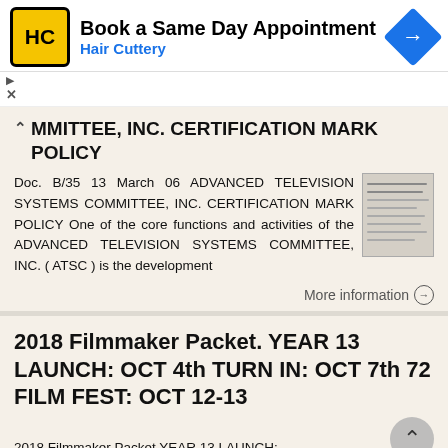[Figure (screenshot): Hair Cuttery advertisement banner with logo, 'Book a Same Day Appointment', navigation icon]
MMITTEE, INC. CERTIFICATION MARK POLICY
Doc. B/35 13 March 06 ADVANCED TELEVISION SYSTEMS COMMITTEE, INC. CERTIFICATION MARK POLICY One of the core functions and activities of the ADVANCED TELEVISION SYSTEMS COMMITTEE, INC. ( ATSC ) is the development
More information →
2018 Filmmaker Packet. YEAR 13 LAUNCH: OCT 4th TURN IN: OCT 7th 72 FILM FEST: OCT 12-13
2018 Filmmaker Packet YEAR 13 LAUNCH: